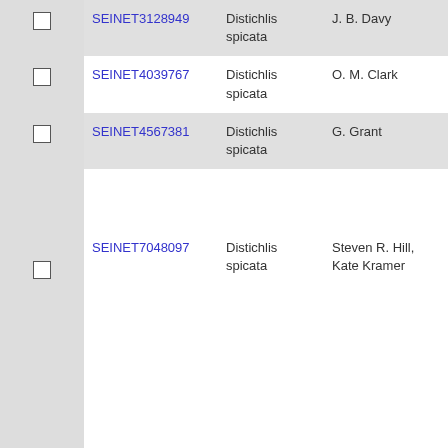|  | ID | Name | Collector | Date |
| --- | --- | --- | --- | --- |
| ☐ | SEINET3128949 | Distichlis spicata | J. B. Davy |  |
| ☐ | SEINET4039767 | Distichlis spicata | O. M. Clark | 1947-1 |
| ☐ | SEINET4567381 | Distichlis spicata | G. Grant | 1904-6-5 |
| ☐ | SEINET7048097 | Distichlis spicata | Steven R. Hill, Kate Kramer | 2001-5-1 |